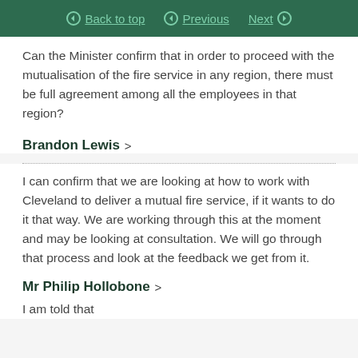Back to top | Previous | Next
Can the Minister confirm that in order to proceed with the mutualisation of the fire service in any region, there must be full agreement among all the employees in that region?
Brandon Lewis >
I can confirm that we are looking at how to work with Cleveland to deliver a mutual fire service, if it wants to do it that way. We are working through this at the moment and may be looking at consultation. We will go through that process and look at the feedback we get from it.
Mr Philip Hollobone >
I am told that...